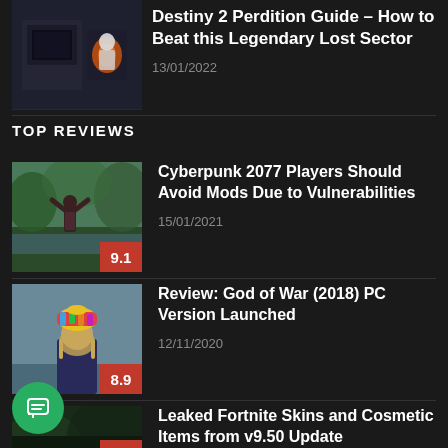[Figure (photo): Dark sci-fi game thumbnail for Destiny 2 Perdition guide]
Destiny 2 Perdition Guide – How to Beat this Legendary Lost Sector
13/01/2022
TOP REVIEWS
[Figure (photo): Person raising arms outdoors near water, Cyberpunk 2077 article thumbnail with rating badge 9.1]
Cyberpunk 2077 Players Should Avoid Mods Due to Vulnerabilities
15/01/2021
[Figure (photo): Person with colorful hat seen from behind, God of War PC review thumbnail with rating badge 8.9]
Review: God of War (2018) PC Version Launched
12/11/2020
[Figure (photo): Dark foliage thumbnail for Fortnite skins article]
Leaked Fortnite Skins and Cosmetic Items from v9.50 Update